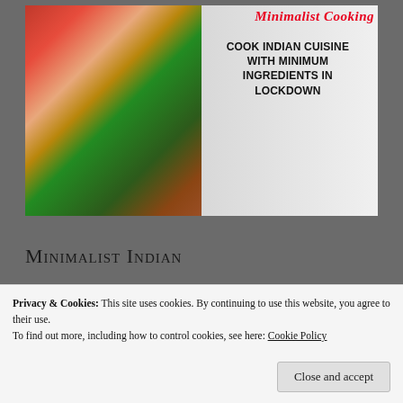[Figure (illustration): Book cover for 'Minimalist Cooking' showing fresh fruits and vegetables (strawberries, oranges, rhubarb, greens) on the left side with scissors and small bowl, white/grey background on right side. Red cursive title 'Minimalist Cooking' at top right, bold black text 'COOK INDIAN CUISINE WITH MINIMUM INGREDIENTS IN LOCKDOWN' on right half.]
Minimalist Indian
Privacy & Cookies: This site uses cookies. By continuing to use this website, you agree to their use.
To find out more, including how to control cookies, see here: Cookie Policy